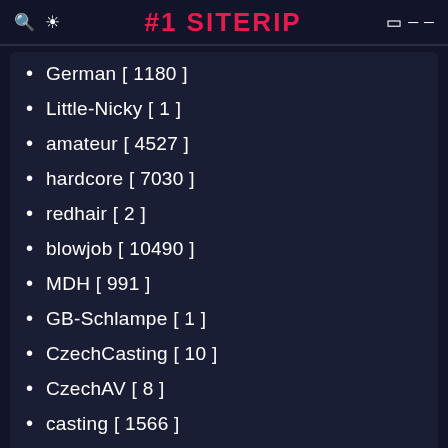#1 SITERIP
German [ 1180 ]
Little-Nicky [ 1 ]
amateur [ 4527 ]
hardcore [ 7030 ]
redhair [ 2 ]
blowjob [ 10490 ]
MDH [ 991 ]
GB-Schlampe [ 1 ]
CzechCasting [ 10 ]
CzechAV [ 8 ]
casting [ 1566 ]
czech [ 375 ]
AnalCheckUp [ 1 ]
anal [ 9486 ]
CaptainStabbin [ 1 ]